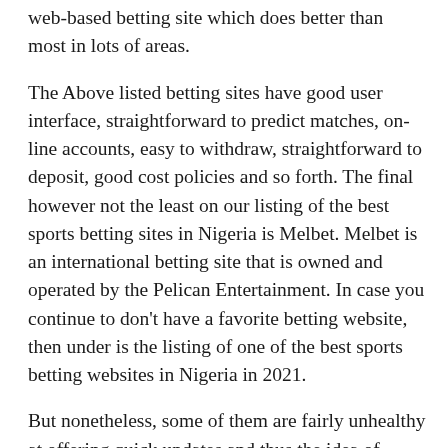web-based betting site which does better than most in lots of areas.
The Above listed betting sites have good user interface, straightforward to predict matches, on-line accounts, easy to withdraw, straightforward to deposit, good cost policies and so forth. The final however not the least on our listing of the best sports betting sites in Nigeria is Melbet. Melbet is an international betting site that is owned and operated by the Pelican Entertainment. In case you continue to don't have a favorite betting website, then under is the listing of one of the best sports betting websites in Nigeria in 2021.
But nonetheless, some of them are fairly unhealthy at offering quick updates and thus the idea of reside betting is ruined and the gameplay is decreased. An underrated feature, when discussing which betting web site is one of the best, is the gameplay. For some sites, you have been attracted by a pleasant promotion or a fantastic betting bonus, but you feel